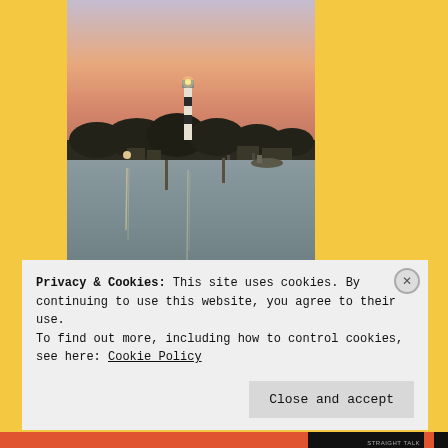[Figure (photo): A coastal twilight scene with a striped lighthouse visible in the background above a tree line, calm water in the foreground with light reflections, and boats/structures along the far shore. The sky has warm pink and grey tones.]
Privacy & Cookies: This site uses cookies. By continuing to use this website, you agree to their use.
To find out more, including how to control cookies, see here: Cookie Policy
Close and accept